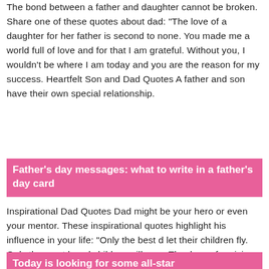The bond between a father and daughter cannot be broken. Share one of these quotes about dad: "The love of a daughter for her father is second to none. You made me a world full of love and for that I am grateful. Without you, I wouldn't be where I am today and you are the reason for my success. Heartfelt Son and Dad Quotes A father and son have their own special relationship.
Father's day messages: what to write in a father's day card
Inspirational Dad Quotes Dad might be your hero or even your mentor. These inspirational quotes highlight his influence in your life: "Only the best d let their children fly. Only the most loved children will soar. Thank you for giving me wings.
Today is looking for some all-star